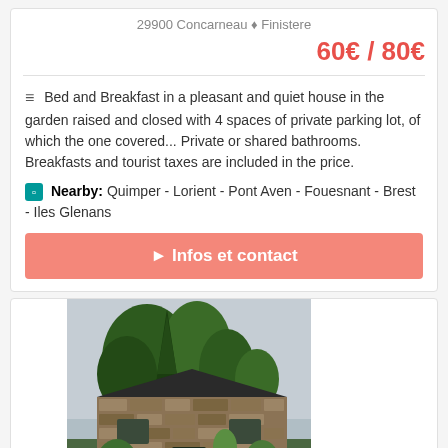29900 Concarneau ♦ Finistere
60€ / 80€
Bed and Breakfast in a pleasant and quiet house in the garden raised and closed with 4 spaces of private parking lot, of which the one covered... Private or shared bathrooms. Breakfasts and tourist taxes are included in the price.
Nearby: Quimper - Lorient - Pont Aven - Fouesnant - Brest - Iles Glenans
► Infos et contact
[Figure (photo): Stone building with trees and garden - Le Clos St André]
Le Clos St André